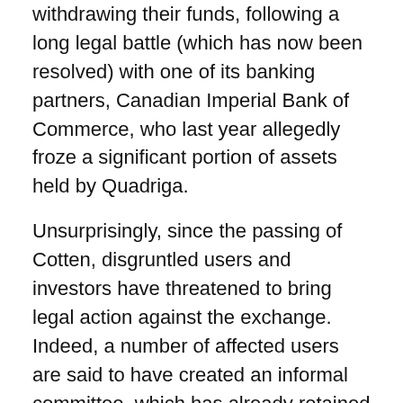withdrawing their funds, following a long legal battle (which has now been resolved) with one of its banking partners, Canadian Imperial Bank of Commerce, who last year allegedly froze a significant portion of assets held by Quadriga.
Unsurprisingly, since the passing of Cotten, disgruntled users and investors have threatened to bring legal action against the exchange. Indeed, a number of affected users are said to have created an informal committee, which has already retained leading Canadian law firms to represent it.
After announcing the death of Cotton (several weeks after his passing), Quadriga sought creditor protection to stay any lawsuits, whilst it attempts to sort out its finances.
On 5 February 2019, the Nova Scotia Supreme